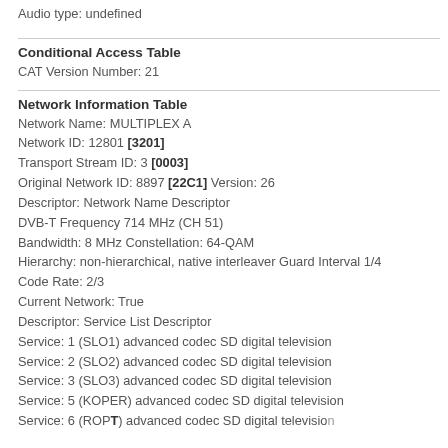Audio type: undefined
Conditional Access Table
CAT Version Number: 21
Network Information Table
Network Name: MULTIPLEX A
Network ID: 12801 [3201]
Transport Stream ID: 3 [0003]
Original Network ID: 8897 [22C1] Version: 26
Descriptor: Network Name Descriptor
DVB-T Frequency 714 MHz (CH 51)
Bandwidth: 8 MHz Constellation: 64-QAM
Hierarchy: non-hierarchical, native interleaver Guard Interval 1/4
Code Rate: 2/3
Current Network: True
Descriptor: Service List Descriptor
Service: 1 (SLO1) advanced codec SD digital television
Service: 2 (SLO2) advanced codec SD digital television
Service: 3 (SLO3) advanced codec SD digital television
Service: 5 (KOPER) advanced codec SD digital television
Service: 6 (ROPT) advanced codec SD digital television